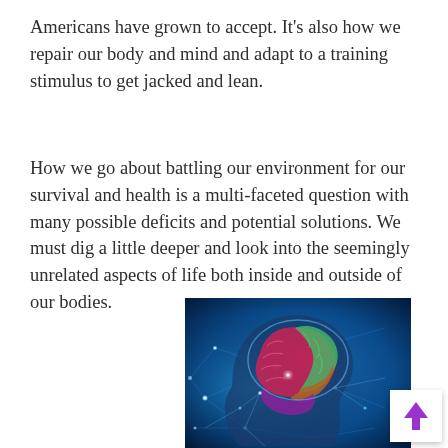Americans have grown to accept. It's also how we repair our body and mind and adapt to a training stimulus to get jacked and lean.
How we go about battling our environment for our survival and health is a multi-faceted question with many possible deficits and potential solutions. We must dig a little deeper and look into the seemingly unrelated aspects of life both inside and outside of our bodies.
[Figure (illustration): A colorful digital illustration of a human brain with glowing neural connections, shown in profile view of a human head silhouette. The brain regions are highlighted in pink, red, green, and brown colors against a blue glowing background with neural network lines.]